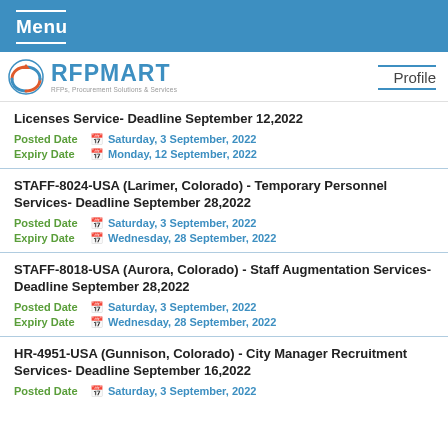Menu
[Figure (logo): RFPMART logo with tagline: RFPs, Procurement Solutions & Services]
Profile
Licenses Service- Deadline September 12,2022
Posted Date: Saturday, 3 September, 2022
Expiry Date: Monday, 12 September, 2022
STAFF-8024-USA (Larimer, Colorado) - Temporary Personnel Services- Deadline September 28,2022
Posted Date: Saturday, 3 September, 2022
Expiry Date: Wednesday, 28 September, 2022
STAFF-8018-USA (Aurora, Colorado) - Staff Augmentation Services- Deadline September 28,2022
Posted Date: Saturday, 3 September, 2022
Expiry Date: Wednesday, 28 September, 2022
HR-4951-USA (Gunnison, Colorado) - City Manager Recruitment Services- Deadline September 16,2022
Posted Date: Saturday, 3 September, 2022